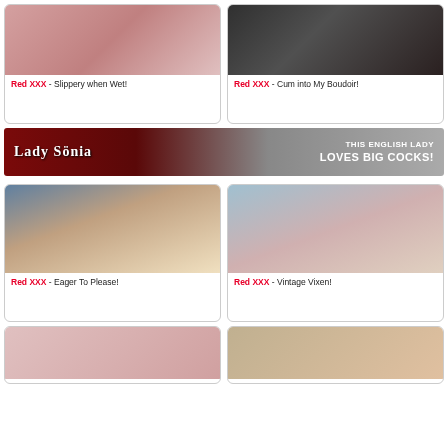[Figure (photo): Adult content thumbnail - Red XXX Slippery when Wet]
Red XXX - Slippery when Wet!
[Figure (photo): Adult content thumbnail - Red XXX Cum into My Boudoir]
Red XXX - Cum into My Boudoir!
[Figure (photo): Lady Sonia banner - This English Lady Loves Big Cocks!]
[Figure (photo): Adult content thumbnail - Red XXX Eager To Please]
Red XXX - Eager To Please!
[Figure (photo): Adult content thumbnail - Red XXX Vintage Vixen]
Red XXX - Vintage Vixen!
[Figure (photo): Adult content thumbnail bottom left]
[Figure (photo): Adult content thumbnail bottom right]